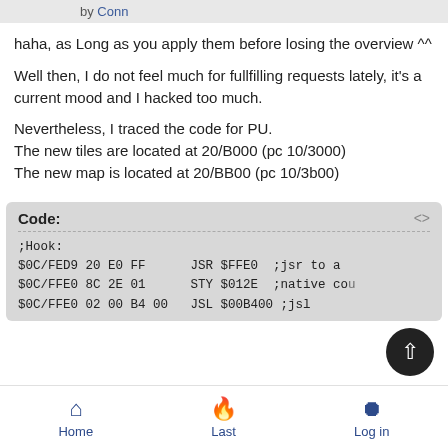by Conn
haha, as Long as you apply them before losing the overview ^^
Well then, I do not feel much for fullfilling requests lately, it's a current mood and I hacked too much.
Nevertheless, I traced the code for PU.
The new tiles are located at 20/B000 (pc 10/3000)
The new map is located at 20/BB00 (pc 10/3b00)
Code:
;Hook:
$0C/FED9 20 E0 FF      JSR $FFE0  ;jsr to a
$0C/FFE0 8C 2E 01      STY $012E  ;native co
$0C/FFE0 02 00 B4 00   JSL $00B400 ;jsl
Home  Last  Log in